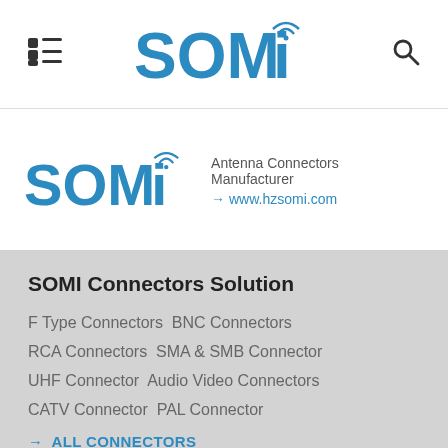SOMI
[Figure (logo): SOMI antenna connectors manufacturer logo with wireless signal icon, in blue]
Antenna Connectors Manufacturer → www.hzsomi.com
SOMI Connectors Solution
F Type Connectors  BNC Connectors
RCA Connectors  SMA & SMB Connector
UHF Connector  Audio Video Connectors
CATV Connector  PAL Connector
→ ALL CONNECTORS